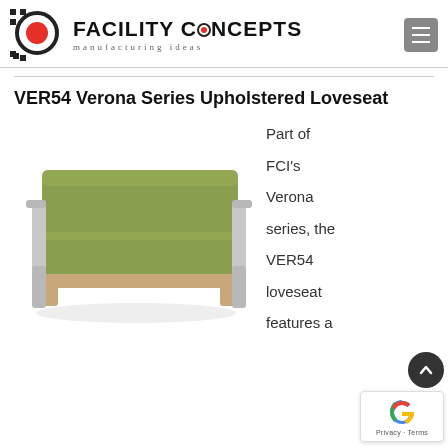FACILITY CONCEPTS manufacturing ideas
VER54 Verona Series Upholstered Loveseat
[Figure (photo): Green upholstered loveseat with wooden base and metal armrests, shown in three-quarter view against white background]
Part of FCI's Verona series, the VER54 loveseat features a